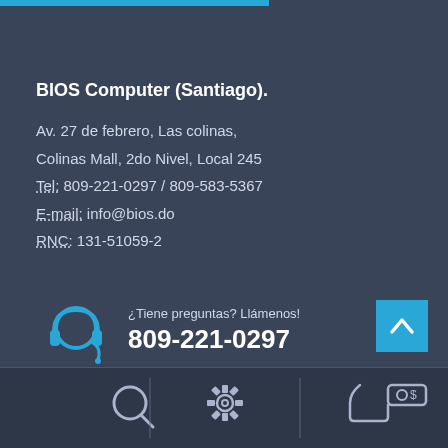BIOS Computer (Santiago).
Av. 27 de febrero, Las colinas, Colinas Mall, 2do Nivel, Local 245
Tel: 809-221-0297 / 809-583-5367
E-mail: info@bios.do
RNC: 131-51059-2
[Figure (illustration): Blue headset/customer support icon]
¿Tiene preguntas? Llámenos!
809-221-0297
[Figure (illustration): Scroll-to-top button with upward arrow]
[Figure (illustration): Bottom navigation bar with search, settings gear, and money/hand icons]